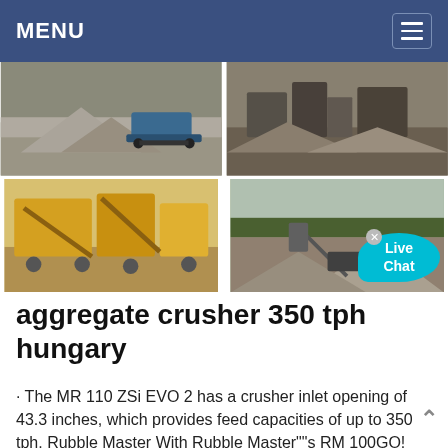MENU
[Figure (photo): Four-panel image grid showing aggregate crushing and mining operations: top-left shows a bulldozer pushing gravel, top-right shows crushers at a quarry, bottom-left shows yellow mobile crushing plant machinery, bottom-right shows a conveyor belt and aggregate pile at a quarry site with trees in background.]
aggregate crusher 350 tph hungary
· The MR 110 ZSi EVO 2 has a crusher inlet opening of 43.3 inches, which provides feed capacities of up to 350 tph. Rubble Master With Rubble Master""s RM 100GO! tracked impact crusher, thanks to a new screen